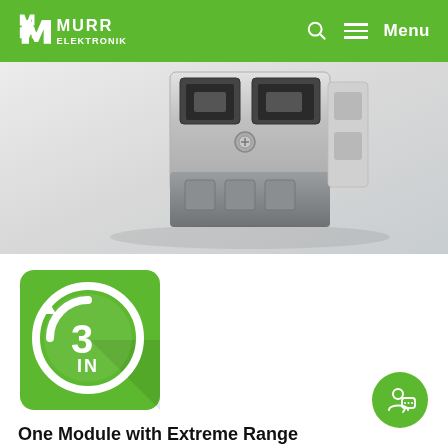MURR ELEKTRONIK — Menu
[Figure (photo): Close-up photo of a Murr Elektronik industrial connector/module device, grey and silver metallic, on a light grey background.]
[Figure (logo): Green square badge with white circle and '3 IN' text with an arrow icon, representing '3 in 1' module concept.]
One Module with Extreme Range